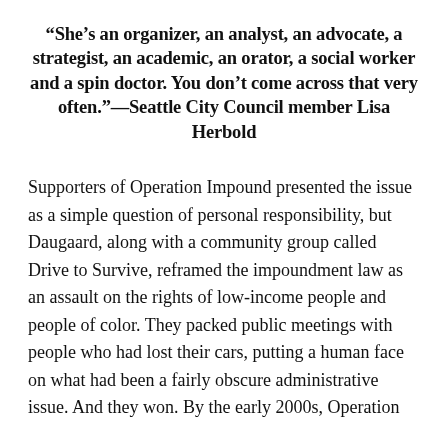“She’s an organizer, an analyst, an advocate, a strategist, an academic, an orator, a social worker and a spin doctor. You don’t come across that very often.”—Seattle City Council member Lisa Herbold
Supporters of Operation Impound presented the issue as a simple question of personal responsibility, but Daugaard, along with a community group called Drive to Survive, reframed the impoundment law as an assault on the rights of low-income people and people of color. They packed public meetings with people who had lost their cars, putting a human face on what had been a fairly obscure administrative issue. And they won. By the early 2000s, Operation